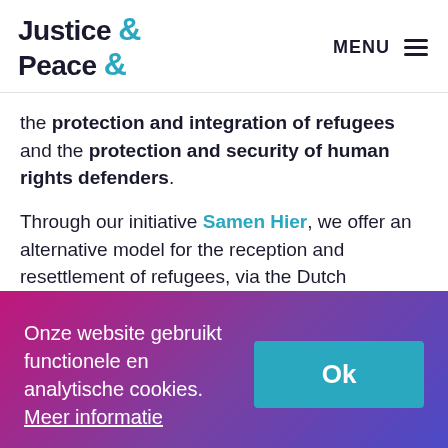Justice & Peace  MENU ≡
the protection and integration of refugees and the protection and security of human rights defenders.
Through our initiative Samen Hier, we offer an alternative model for the reception and resettlement of refugees, via the Dutch
Onze website gebruikt functionele en analytische cookies. Meer informatie  Ok
t…nd th…d…t…d…ti…n f…